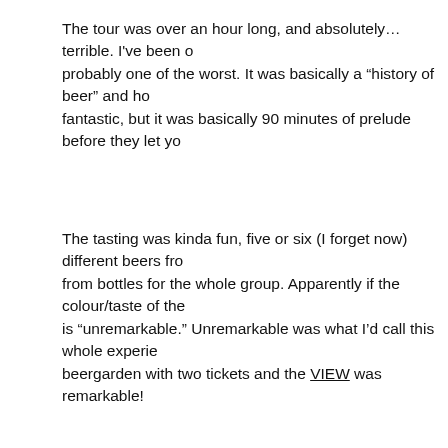The tour was over an hour long, and absolutely…terrible. I've been on probably one of the worst. It was basically a "history of beer" and ho… fantastic, but it was basically 90 minutes of prelude before they let yo…
The tasting was kinda fun, five or six (I forget now) different beers fro… from bottles for the whole group. Apparently if the colour/taste of the … is "unremarkable." Unremarkable was what I'd call this whole experie… beergarden with two tickets and the VIEW was remarkable!
[Figure (photo): A sunset or sunrise photograph showing a dramatic sky with golden and orange clouds, warm golden light illuminating cloud formations against a grey-blue sky.]